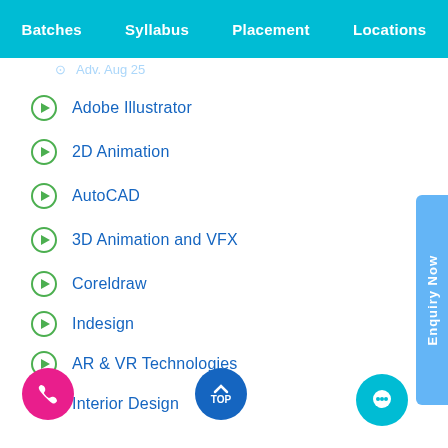Batches  Syllabus  Placement  Locations
Adobe Illustrator
2D Animation
AutoCAD
3D Animation and VFX
Coreldraw
Indesign
AR & VR Technologies
Interior Design
Digital Video Production
Fashion Design
Web Designing & Development